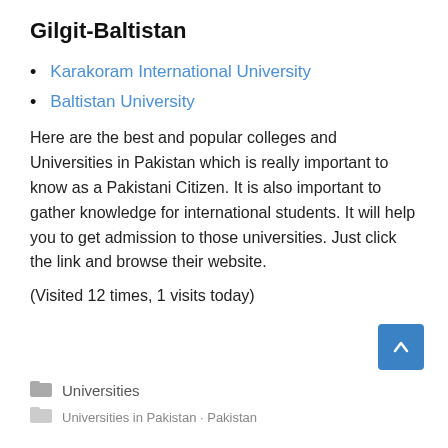Gilgit-Baltistan
Karakoram International University
Baltistan University
Here are the best and popular colleges and Universities in Pakistan which is really important to know as a Pakistani Citizen. It is also important to gather knowledge for international students. It will help you to get admission to those universities. Just click the link and browse their website.
(Visited 12 times, 1 visits today)
Universities